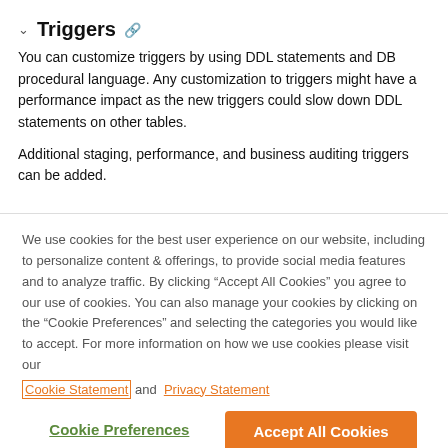Triggers
You can customize triggers by using DDL statements and DB procedural language. Any customization to triggers might have a performance impact as the new triggers could slow down DDL statements on other tables.
Additional staging, performance, and business auditing triggers can be added.
We use cookies for the best user experience on our website, including to personalize content & offerings, to provide social media features and to analyze traffic. By clicking “Accept All Cookies” you agree to our use of cookies. You can also manage your cookies by clicking on the “Cookie Preferences” and selecting the categories you would like to accept. For more information on how we use cookies please visit our Cookie Statement and Privacy Statement
Cookie Preferences
Accept All Cookies